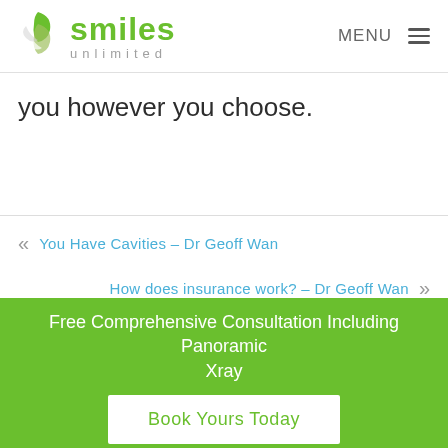[Figure (logo): Smiles Unlimited logo with green swirl icon and green 'smiles' text with gray 'unlimited' subtitle]
MENU
you however you choose.
« You Have Cavities – Dr Geoff Wan
How does insurance work? – Dr Geoff Wan »
Free Comprehensive Consultation Including Panoramic Xray
Book Yours Today